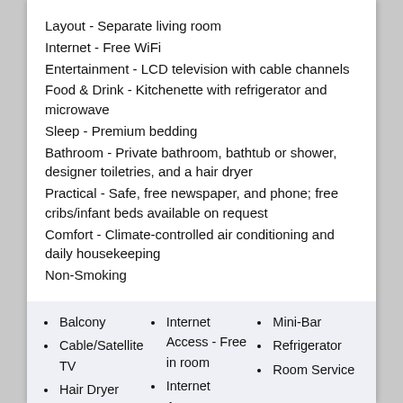Layout - Separate living room
Internet - Free WiFi
Entertainment - LCD television with cable channels
Food & Drink - Kitchenette with refrigerator and microwave
Sleep - Premium bedding
Bathroom - Private bathroom, bathtub or shower, designer toiletries, and a hair dryer
Practical - Safe, free newspaper, and phone; free cribs/infant beds available on request
Comfort - Climate-controlled air conditioning and daily housekeeping
Non-Smoking
Balcony
Cable/Satellite TV
Hair Dryer
In room safe
Internet Access - Free in room
Internet Access -
Mini-Bar
Refrigerator
Room Service